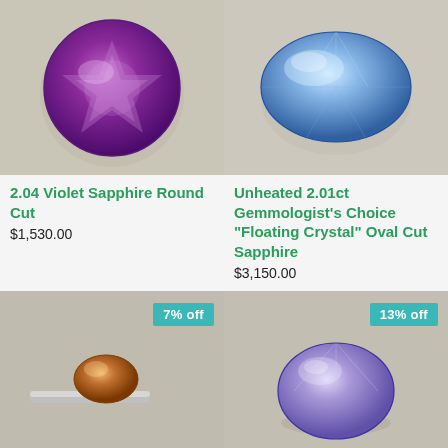[Figure (photo): Purple/violet round cut sapphire gemstone on beige background]
2.04 Violet Sapphire Round Cut
$1,530.00
[Figure (photo): Light blue oval cushion cut sapphire gemstone on beige background]
Unheated 2.01ct Gemmologist's Choice "Floating Crystal" Oval Cut Sapphire
$3,150.00
[Figure (photo): Orange/brown oval sapphire in silver ring setting, with 7% off badge]
[Figure (photo): Light purple/lavender oval sapphire gemstone, with 13% off badge]